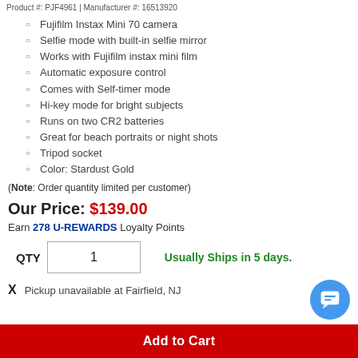Product #: PJF4961 | Manufacturer #: 16513920
Fujifilm Instax Mini 70 camera
Selfie mode with built-in selfie mirror
Works with Fujifilm instax mini film
Automatic exposure control
Comes with Self-timer mode
Hi-key mode for bright subjects
Runs on two CR2 batteries
Great for beach portraits or night shots
Tripod socket
Color: Stardust Gold
(Note: Order quantity limited per customer)
Our Price: $139.00
Earn 278 U-REWARDS Loyalty Points
QTY 1  Usually Ships in 5 days.
X  Pickup unavailable at Fairfield, NJ
Add to Cart